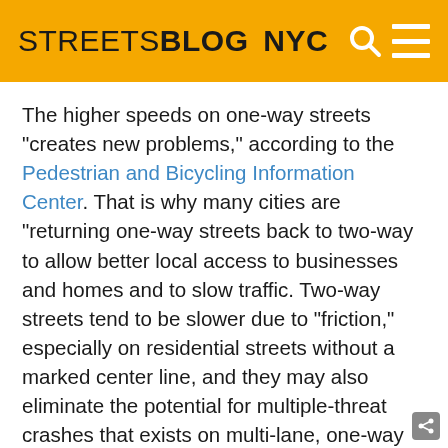STREETSBLOG NYC
The higher speeds on one-way streets "creates new problems," according to the Pedestrian and Bicycling Information Center. That is why many cities are "returning one-way streets back to two-way to allow better local access to businesses and homes and to slow traffic. Two-way streets tend to be slower due to "friction," especially on residential streets without a marked center line, and they may also eliminate the potential for multiple-threat crashes that exists on multi-lane, one-way streets."
The USA Today article provides some interesting historical background on the one-way / two-way phenomenon: